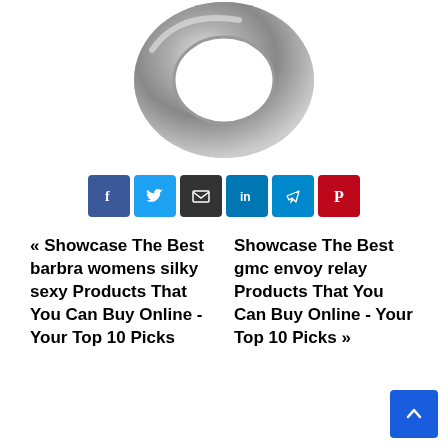[Figure (photo): Metal washer/ring viewed from above on white background]
[Figure (infographic): Social sharing buttons: Facebook (blue), Twitter (light blue), Email (dark), LinkedIn (blue), Telegram (cyan), Pinterest (red)]
« Showcase The Best barbra womens silky sexy Products That You Can Buy Online - Your Top 10 Picks
Showcase The Best gmc envoy relay Products That You Can Buy Online - Your Top 10 Picks »